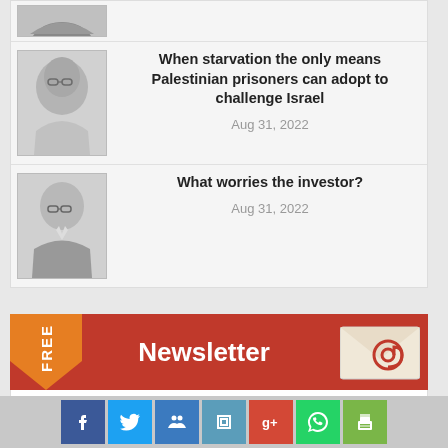[Figure (photo): Partial top of person portrait photo cropped at top of page]
[Figure (photo): Black and white portrait photo of elderly woman with glasses]
When starvation the only means Palestinian prisoners can adopt to challenge Israel
Aug 31, 2022
[Figure (photo): Black and white portrait photo of middle-aged man in suit]
What worries the investor?
Aug 31, 2022
[Figure (infographic): Newsletter signup banner with FREE badge in orange, red background, email icon, and social media share icons at bottom]
Get top stories and blog posts emailed to you each day.